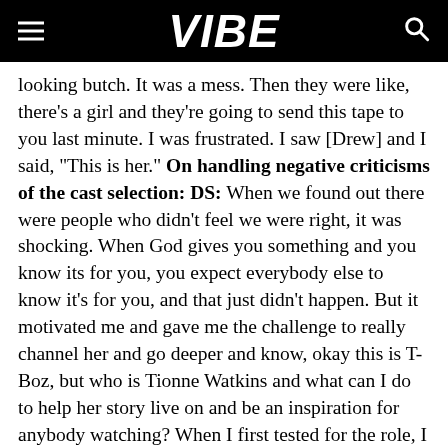VIBE
looking butch. It was a mess. Then they were like, there's a girl and they're going to send this tape to you last minute. I was frustrated. I saw [Drew] and I said, "This is her." On handling negative criticisms of the cast selection: DS: When we found out there were people who didn't feel we were right, it was shocking. When God gives you something and you know its for you, you expect everybody else to know it's for you, and that just didn't happen. But it motivated me and gave me the challenge to really channel her and go deeper and know, okay this is T-Boz, but who is Tionne Watkins and what can I do to help her story live on and be an inspiration for anybody watching? When I first tested for the role, I tested with Lil Mama, and when